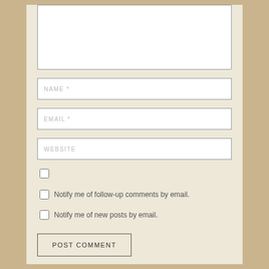[Figure (screenshot): Comment form with textarea, name, email, website input fields, checkboxes for email notifications, and a POST COMMENT button on a beige background]
NAME *
EMAIL *
WEBSITE
Notify me of follow-up comments by email.
Notify me of new posts by email.
POST COMMENT